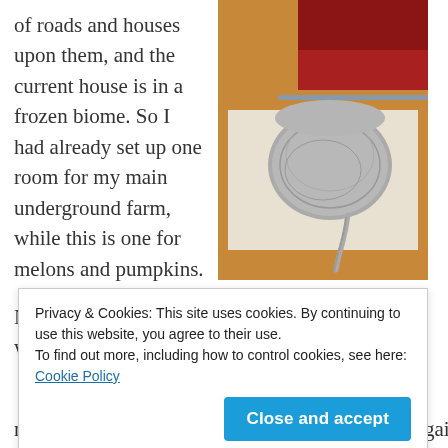of roads and houses upon them, and the current house is in a frozen biome. So I had already set up one room for my main underground farm, while this is one for melons and pumpkins.
[Figure (photo): A ball of grey wool yarn sitting on a wooden surface with papers, with a red fabric visible in the background.]
Now, the balled up wool
Privacy & Cookies: This site uses cookies. By continuing to use this website, you agree to their use. To find out more, including how to control cookies, see here: Cookie Policy
my brain exploded, but I'm still thinking I'll try again